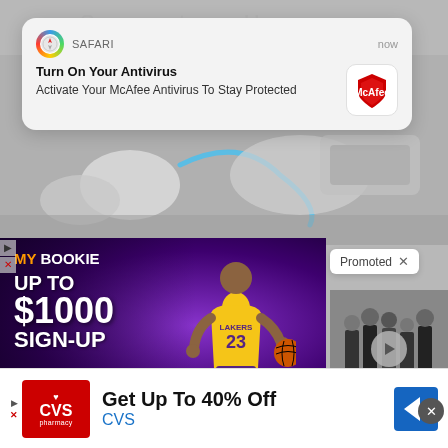[Figure (screenshot): Safari browser push notification card saying 'Turn On Your Antivirus - Activate Your McAfee Antivirus To Stay Protected' with McAfee logo, overlaid on a webpage with earbuds photo in the background.]
[Figure (screenshot): MyBookie sports betting advertisement banner with LeBron James in Lakers jersey #23, text reading 'MY BOOKIE UP TO $1000 SIGN-UP' on purple background.]
[Figure (screenshot): A 'Promoted' badge with an X close button, next to a video thumbnail showing suited figures.]
[Figure (screenshot): CVS Pharmacy advertisement bar at bottom: 'Get Up To 40% Off' with CVS logo and a blue arrow icon.]